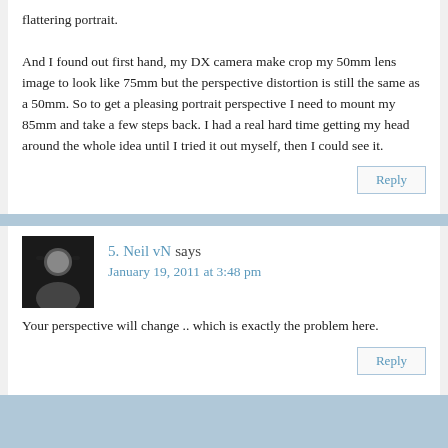flattering portrait.

And I found out first hand, my DX camera make crop my 50mm lens image to look like 75mm but the perspective distortion is still the same as a 50mm. So to get a pleasing portrait perspective I need to mount my 85mm and take a few steps back. I had a real hard time getting my head around the whole idea until I tried it out myself, then I could see it.
Reply
5.  Neil vN says
January 19, 2011 at 3:48 pm
Your perspective will change .. which is exactly the problem here.
Reply